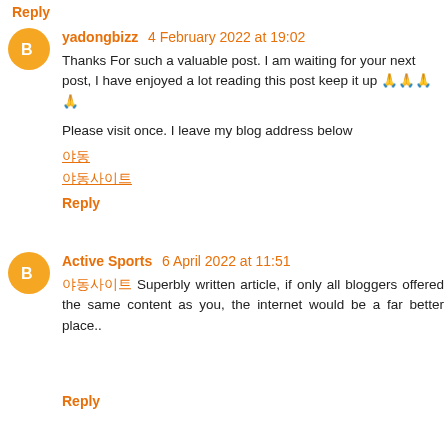Reply
yadongbizz  4 February 2022 at 19:02
Thanks For such a valuable post. I am waiting for your next post, I have enjoyed a lot reading this post keep it up 🙏🙏🙏🙏
Please visit once. I leave my blog address below
야동
야동사이트
Reply
Active Sports  6 April 2022 at 11:51
야동사이트 Superbly written article, if only all bloggers offered the same content as you, the internet would be a far better place..
Reply